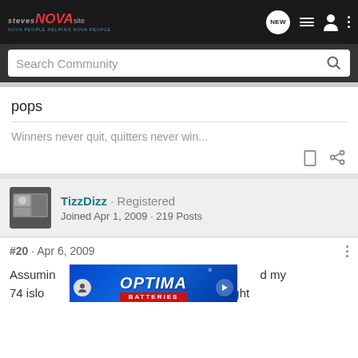Steves NOVA Site - NOVA PEOPLE HELPING NOVA PEOPLE | NEW | [nav icons]
Search Community
pops
Winners never quit, quitters never win...
TizzDizz · Registered
Joined Apr 1, 2009 · 219 Posts
#20 · Apr 6, 2009
Assuming ... d my 74 islo... right
[Figure (screenshot): Optima Batteries advertisement banner with blue gradient background]